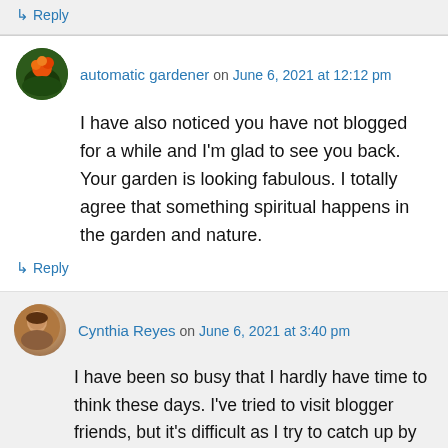↳ Reply
automatic gardener on June 6, 2021 at 12:12 pm
I have also noticed you have not blogged for a while and I'm glad to see you back. Your garden is looking fabulous. I totally agree that something spiritual happens in the garden and nature.
↳ Reply
Cynthia Reyes on June 6, 2021 at 3:40 pm
I have been so busy that I hardly have time to think these days. I've tried to visit blogger friends, but it's difficult as I try to catch up by reading a few posts and never